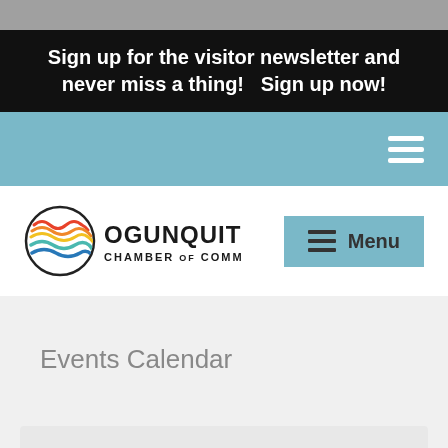Sign up for the visitor newsletter and never miss a thing!   Sign up now!
[Figure (logo): Ogunquit Chamber of Commerce logo with colorful wave design inside a circle, next to bold text reading OGUNQUIT CHAMBER OF COMMERCE]
Events Calendar